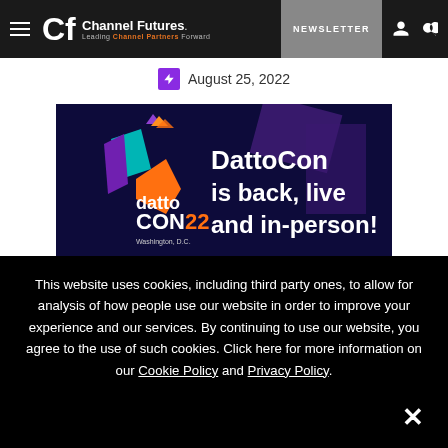Channel Futures — Leading Channel Partners Forward | NEWSLETTER
August 25, 2022
[Figure (photo): DattoCon 2022 promotional banner. Dark navy/purple background with geometric colorful shapes on left (teal, orange, purple). Text reads 'datto CON22 Washington, D.C.' on left side and 'DattoCon is back, live and in-person! Washington, DC' on right side in white bold font.]
This website uses cookies, including third party ones, to allow for analysis of how people use our website in order to improve your experience and our services. By continuing to use our website, you agree to the use of such cookies. Click here for more information on our Cookie Policy and Privacy Policy.